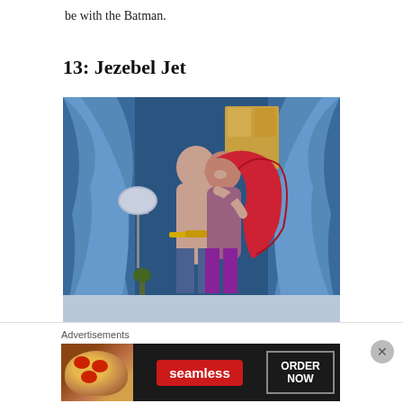be with the Batman.
13: Jezebel Jet
[Figure (illustration): Comic book illustration of two figures embracing and kissing in a room with blue curtains. One figure has long red hair. A lamp is visible in the background. The scene is rendered in a vivid comic book style with blues, purples, and reds.]
Advertisements
[Figure (other): Seamless food ordering advertisement banner showing pizza on the left, a red Seamless logo button in the center, and an 'ORDER NOW' button on the right, on a dark background.]